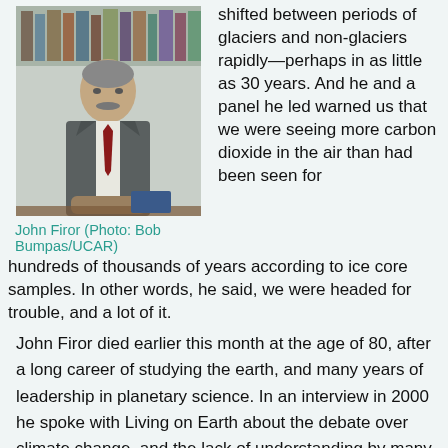[Figure (photo): John Firor standing at a desk in front of bookshelves, wearing a suit and red tie]
John Firor (Photo: Bob Bumpas/UCAR)
shifted between periods of glaciers and non-glaciers rapidly—perhaps in as little as 30 years. And he and a panel he led warned us that we were seeing more carbon dioxide in the air than had been seen for hundreds of thousands of years according to ice core samples. In other words, he said, we were headed for trouble, and a lot of it.
John Firor died earlier this month at the age of 80, after a long career of studying the earth, and many years of leadership in planetary science. In an interview in 2000 he spoke with Living on Earth about the debate over climate change, and the lack of understanding by many people.
FIROR: What they don't recognize is that people are